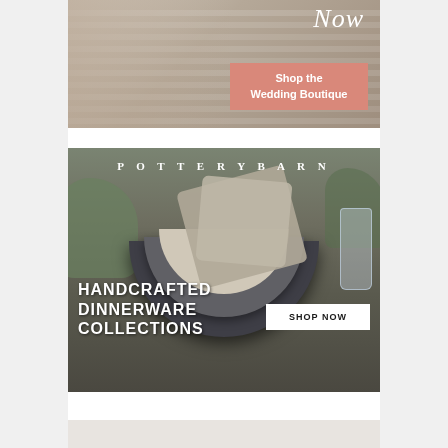[Figure (illustration): Wedding boutique advertisement showing a woman in a floral dress with cursive 'Now' text and a salmon-colored button reading 'Shop the Wedding Boutique']
[Figure (illustration): Pottery Barn advertisement featuring stacked handcrafted ceramic bowls with linen napkins on a dining table, with logo 'POTTERY BARN', text 'HANDCRAFTED DINNERWARE COLLECTIONS' and a 'SHOP NOW' button]